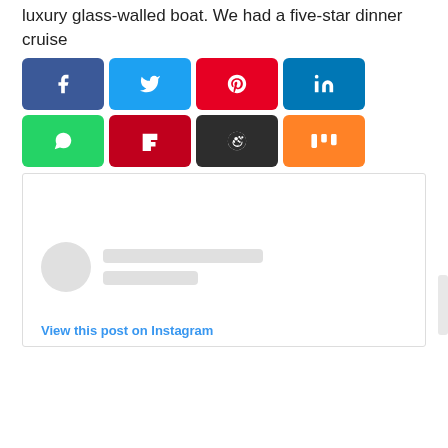luxury glass-walled boat. We had a five-star dinner cruise
[Figure (screenshot): Social media sharing buttons row: Facebook (blue), Twitter (cyan), Pinterest (red), LinkedIn (blue), WhatsApp (green), Flipboard (red), Reddit (dark), Mix (orange)]
[Figure (screenshot): Embedded Instagram post loading placeholder with grey avatar circle and grey content lines, with 'View this post on Instagram' link at bottom]